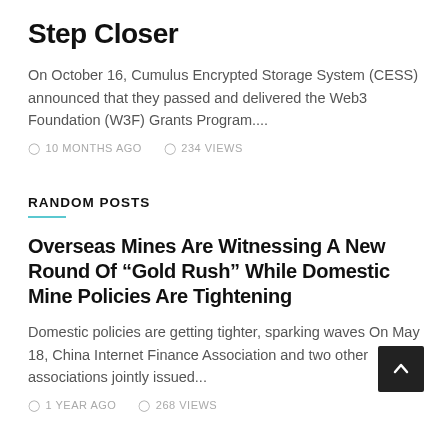Step Closer
On October 16, Cumulus Encrypted Storage System (CESS) announced that they passed and delivered the Web3 Foundation (W3F) Grants Program....
10 MONTHS AGO   234 VIEWS
RANDOM POSTS
Overseas Mines Are Witnessing A New Round Of “Gold Rush” While Domestic Mine Policies Are Tightening
Domestic policies are getting tighter, sparking waves On May 18, China Internet Finance Association and two other associations jointly issued...
1 YEAR AGO   268 VIEWS